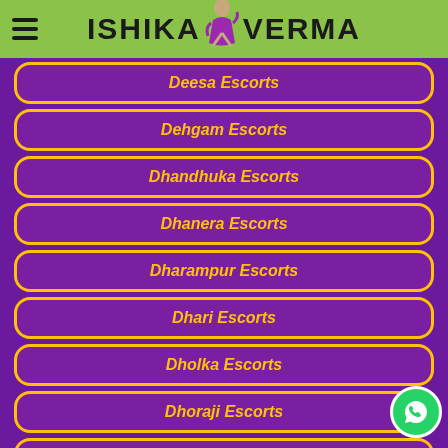ISHIKA VERMA
Deesa Escorts
Dehgam Escorts
Dhandhuka Escorts
Dhanera Escorts
Dharampur Escorts
Dhari Escorts
Dholka Escorts
Dhoraji Escorts
Dhrangadhra Escorts
Dhrol Escorts
Daman Escorts